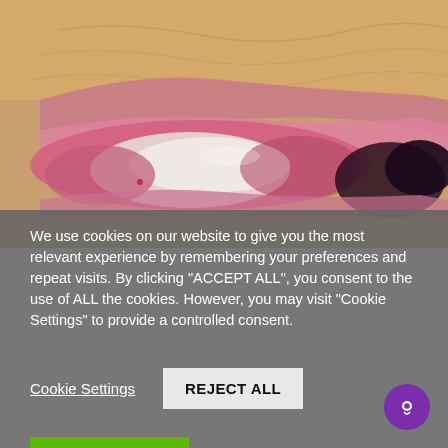[Figure (photo): Close-up clinical photograph of a human eye showing severe ocular pathology — the eye appears partially closed with inflamed, thickened eyelid margins, whitish-pink lesions visible on the conjunctiva/sclera area, and dark necrotic tissue at the lateral corner. Surrounding skin is aged and yellowish-toned.]
We use cookies on our website to give you the most relevant experience by remembering your preferences and repeat visits. By clicking "ACCEPT ALL", you consent to the use of ALL the cookies. However, you may visit "Cookie Settings" to provide a controlled consent.
Cookie Settings
REJECT ALL
ACCEPT ALL